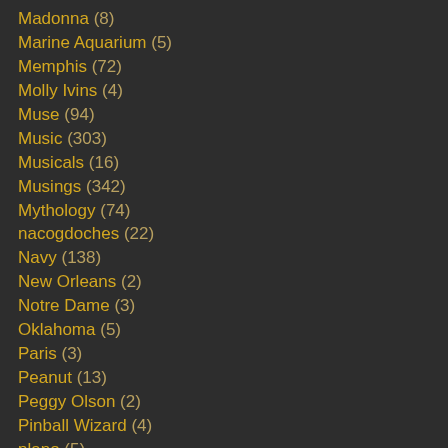Madonna (8)
Marine Aquarium (5)
Memphis (72)
Molly Ivins (4)
Muse (94)
Music (303)
Musicals (16)
Musings (342)
Mythology (74)
nacogdoches (22)
Navy (138)
New Orleans (2)
Notre Dame (3)
Oklahoma (5)
Paris (3)
Peanut (13)
Peggy Olson (2)
Pinball Wizard (4)
plano (5)
Politics (26)
Portland (2)